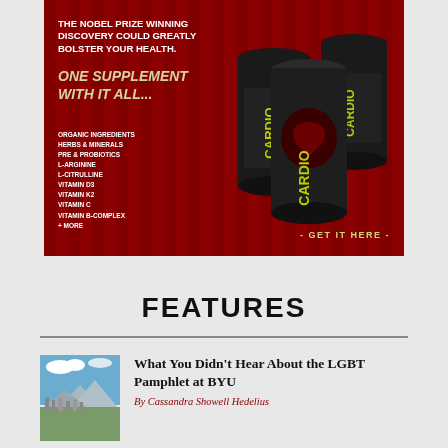[Figure (advertisement): Dark red advertisement banner for CARDIO supplement product. Text reads: 'THE NOBEL PRIZE WINNING DISCOVERY COULD GREATLY BOLSTER YOUR HEALTH. ONE SUPPLEMENT WITH IT ALL...' with ingredient list: ORGANIC INGREDIENTS, HERBS & MINERALS, PRE & PROBIOTICS, L-ARGININE, L-CITRULLINE, VITAMIN D3, VITAMIN K2, VITAMIN C, VITAMIN B-COMPLEX, + MORE. Shows three dark supplement containers labeled CARDIO. Bottom right reads '- GET IT HERE -']
FEATURES
[Figure (photo): Aerial photograph of a city/urban area with mountains visible in the background and blue sky with clouds]
What You Didn't Hear About the LGBT Pamphlet at BYU
By Cassandra Showell Hedelius